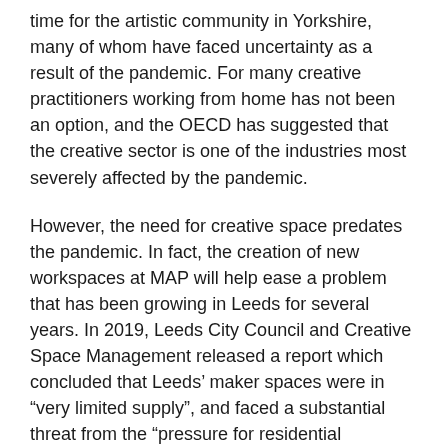time for the artistic community in Yorkshire, many of whom have faced uncertainty as a result of the pandemic. For many creative practitioners working from home has not been an option, and the OECD has suggested that the creative sector is one of the industries most severely affected by the pandemic.
However, the need for creative space predates the pandemic. In fact, the creation of new workspaces at MAP will help ease a problem that has been growing in Leeds for several years. In 2019, Leeds City Council and Creative Space Management released a report which concluded that Leeds' maker spaces were in “very limited supply”, and faced a substantial threat from the “pressure for residential development”. With waiting lists already full in 2019, Leeds has long been in need of additional spaces to provide for the city's existing creative community and future